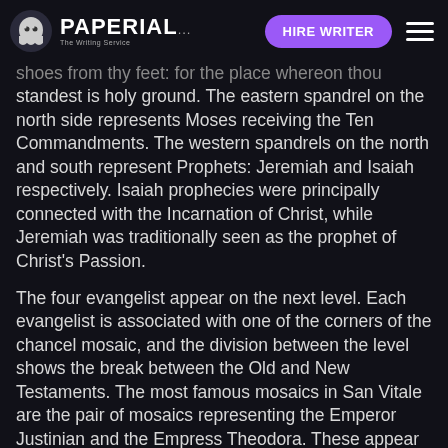PAPERIAL... HIRE WRITER
shoes from thy feet: for the place whereon thou standest is holy ground. The eastern spandrel on the north side represents Moses receiving the Ten Commandments. The western spandrels on the north and south represent Prophets: Jeremiah and Isaiah respectively. Isaiah prophecies were principally connected with the Incarnation of Christ, while Jeremiah was traditionally seen as the prophet of Christ's Passion.
The four evangelist appear on the next level. Each evangelist is associated with one of the corners of the chancel mosaic, and the division between the level shows the break between the Old and New Testaments. The most famous mosaics in San Vitale are the pair of mosaics representing the Emperor Justinian and the Empress Theodora. These appear in the apse adjacent to the apse mosaic representing Christ in Majesty.